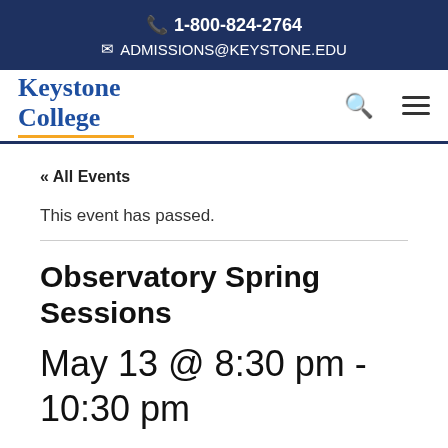1-800-824-2764
ADMISSIONS@KEYSTONE.EDU
[Figure (logo): Keystone College logo with blue serif text and orange underline]
« All Events
This event has passed.
Observatory Spring Sessions
May 13 @ 8:30 pm - 10:30 pm